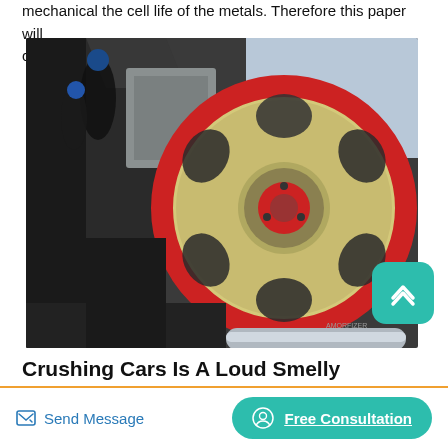mechanical the cell life of the metals. Therefore this paper will crusher comes in to play.
[Figure (photo): Industrial jaw crusher flywheel with red rim and spoke holes, workers in hard hats visible in background on metal structure]
Crushing Cars Is A Loud Smelly Business That's Terrific
Send Message
Free Consultation